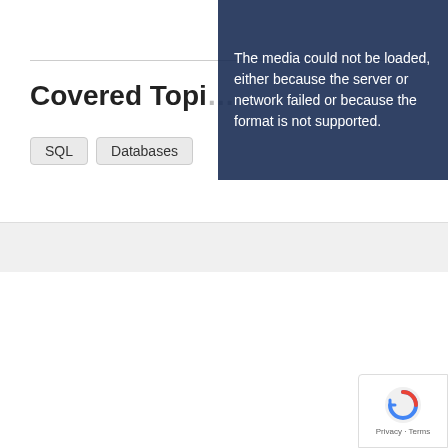Covered Topics
SQL
Databases
[Figure (screenshot): Video player error overlay with dark blue background and white text: 'The media could not be loaded, either because the server or network failed or because the format is not supported.']
[Figure (logo): Cloud Academy logo — blue snowflake icon followed by 'cloud academy' in blue text]
Pricing   About   Careers   Partners
[Figure (other): Google reCAPTCHA badge with Privacy and Terms links]